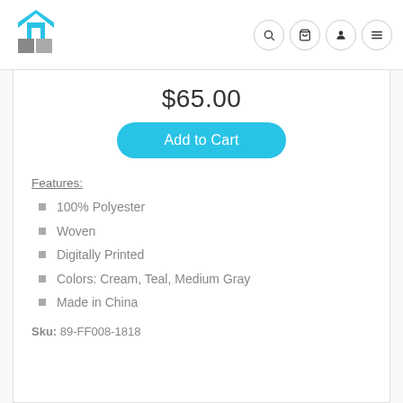[Logo: home/furniture brand] [Navigation icons: search, cart, user, menu]
$65.00
Add to Cart
Features:
100% Polyester
Woven
Digitally Printed
Colors: Cream, Teal, Medium Gray
Made in China
Sku: 89-FF008-1818